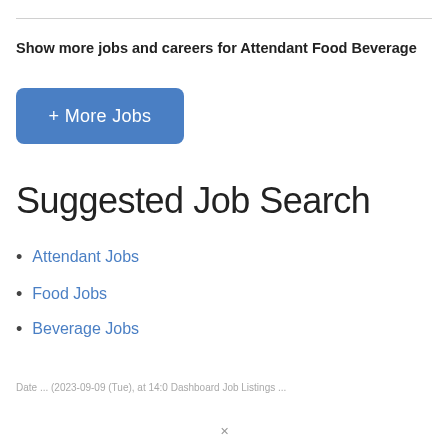Show more jobs and careers for Attendant Food Beverage
+ More Jobs
Suggested Job Search
Attendant Jobs
Food Jobs
Beverage Jobs
Date ... (2023-09-09 (Tue), at 14:0 Dashboard Job Listings ...